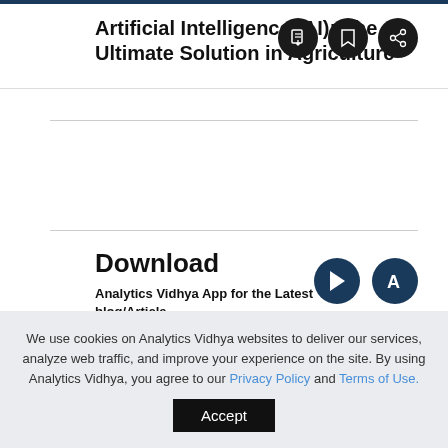Artificial Intelligence (AI): The Ultimate Solution in Agriculture
[Figure (infographic): Three circular dark icon buttons: PDF download, bookmark, and share]
Download
Analytics Vidhya App for the Latest blog/Article
[Figure (infographic): Two dark blue circular app store icons: Google Play and Apple App Store]
We use cookies on Analytics Vidhya websites to deliver our services, analyze web traffic, and improve your experience on the site. By using Analytics Vidhya, you agree to our Privacy Policy and Terms of Use.